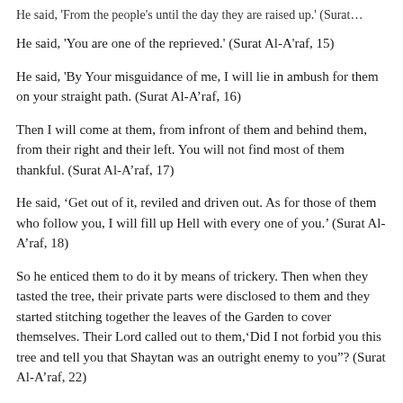He said, 'From the people's until the day they are raised up.' (Surat…
He said, 'You are one of the reprieved.' (Surat Al-A'raf, 15)
He said, 'By Your misguidance of me, I will lie in ambush for them on your straight path. (Surat Al-A'raf, 16)
Then I will come at them, from infront of them and behind them, from their right and their left. You will not find most of them thankful. (Surat Al-A'raf, 17)
He said, 'Get out of it, reviled and driven out. As for those of them who follow you, I will fill up Hell with every one of you.' (Surat Al-A'raf, 18)
So he enticed them to do it by means of trickery. Then when they tasted the tree, their private parts were disclosed to them and they started stitching together the leaves of the Garden to cover themselves. Their Lord called out to them,'Did I not forbid you this tree and tell you that Shaytan was an outright enemy to you"? (Surat Al-A'raf, 22)
The ruling circle of those of his people who were arrogant said, 'We will drive you out of our city, Shu'ayb, you and those who have iman along with you, unless you return to our religion.' He said, 'What, even though we detest it? (Surat Al-A'raf, 88)